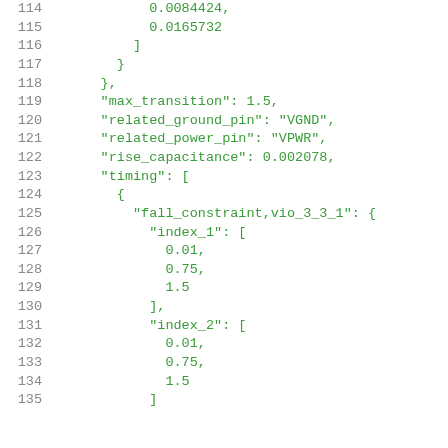114    0.0084424,
115    0.0165732
116  ]
117 }
118 },
119 "max_transition": 1.5,
120 "related_ground_pin": "VGND",
121 "related_power_pin": "VPWR",
122 "rise_capacitance": 0.002078,
123 "timing": [
124 {
125 "fall_constraint,vio_3_3_1": {
126   "index_1": [
127     0.01,
128     0.75,
129     1.5
130   ],
131   "index_2": [
132     0.01,
133     0.75,
134     1.5
135   ]